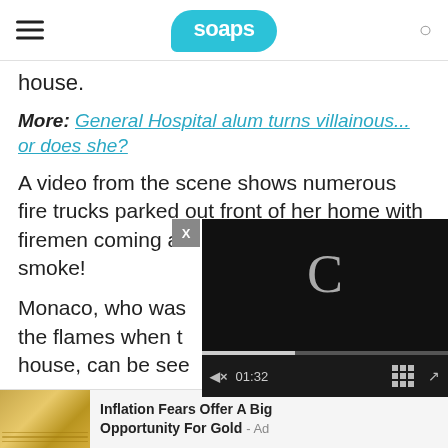soaps
house.
More: General Hospital alum turns villainous... or does she?
A video from the scene shows numerous fire trucks parked out front of her home with firemen coming a[t the scene amidst thick] smoke!
Monaco, who was [home and tried to fight] the flames when t[hey first ignited at her] house, can be see[n in the video...]
[Figure (screenshot): Embedded video player overlay with black background, loading spinner (C icon), progress bar, and controls showing 01:32 timestamp. Close button (X) in top-left corner of overlay.]
Inflation Fears Offer A Big Opportunity For Gold - Ad